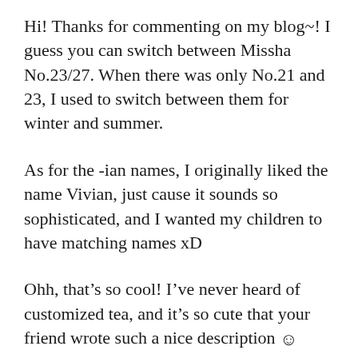Hi! Thanks for commenting on my blog~! I guess you can switch between Missha No.23/27. When there was only No.21 and 23, I used to switch between them for winter and summer.
As for the -ian names, I originally liked the name Vivian, just cause it sounds so sophisticated, and I wanted my children to have matching names xD
Ohh, that's so cool! I've never heard of customized tea, and it's so cute that your friend wrote such a nice description ☺